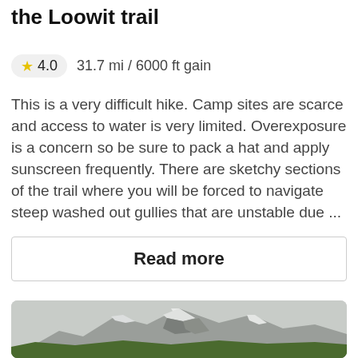the Loowit trail
★ 4.0   31.7 mi / 6000 ft gain
This is a very difficult hike. Camp sites are scarce and access to water is very limited. Overexposure is a concern so be sure to pack a hat and apply sunscreen frequently. There are sketchy sections of the trail where you will be forced to navigate steep washed out gullies that are unstable due ...
Read more
[Figure (photo): A snow-capped volcanic mountain (Mount St. Helens) viewed under an overcast sky, with green vegetation visible at the base.]